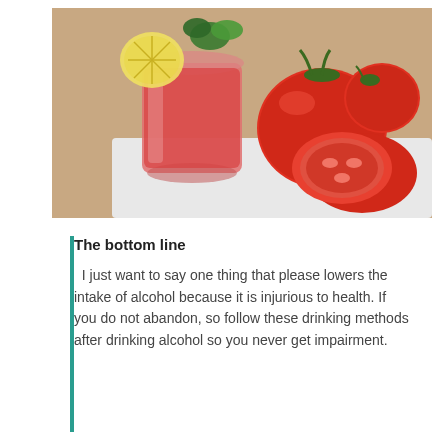[Figure (photo): A glass of red tomato juice garnished with a lemon slice and parsley, surrounded by fresh red tomatoes and a halved tomato on a white surface.]
The bottom line
I just want to say one thing that please lowers the intake of alcohol because it is injurious to health. If you do not abandon, so follow these drinking methods after drinking alcohol so you never get impairment.